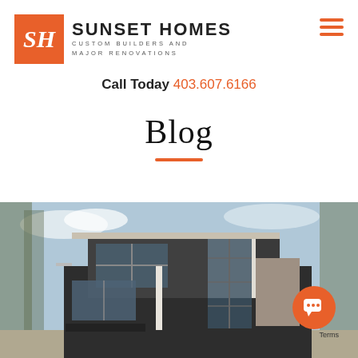[Figure (logo): Sunset Homes logo with orange SH monogram box and company name text: SUNSET HOMES, CUSTOM BUILDERS AND MAJOR RENOVATIONS]
Call Today 403.607.6166
Blog
[Figure (photo): Exterior photo of a modern multi-story custom home with dark cladding, large windows, stone accents, and trees against a blue sky]
[Figure (other): Orange circular chat/messenger widget button in bottom right corner with speech bubble icon, and a 'Terms' label below it]